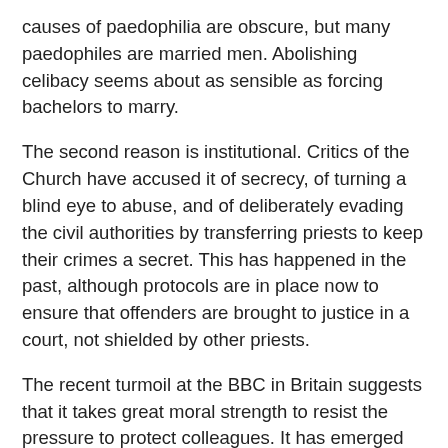causes of paedophilia are obscure, but many paedophiles are married men. Abolishing celibacy seems about as sensible as forcing bachelors to marry.
The second reason is institutional. Critics of the Church have accused it of secrecy, of turning a blind eye to abuse, and of deliberately evading the civil authorities by transferring priests to keep their crimes a secret. This has happened in the past, although protocols are in place now to ensure that offenders are brought to justice in a court, not shielded by other priests.
The recent turmoil at the BBC in Britain suggests that it takes great moral strength to resist the pressure to protect colleagues. It has emerged that Jimmy Savile, a vulgar entertainer whom the BBC lionised for decades, was a serial sexual abuser. A year after his death, at least 300 men and women have come forward to accuse him of molesting or even raping them. Incredibly, Savile used his status as a celebrity visitor to hospitals and orphanages to molest girls. This went on for decades. Some of the incidents may even have happened on BBC premises.